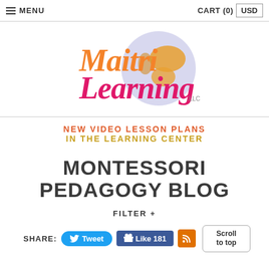≡ MENU   CART (0)   USD
[Figure (logo): Maitri Learning LLC logo with orange and pink text and a globe illustration]
NEW VIDEO LESSON PLANS IN THE LEARNING CENTER
MONTESSORI PEDAGOGY BLOG
FILTER +
SHARE: Tweet   Like 181   [RSS]   Scroll to top